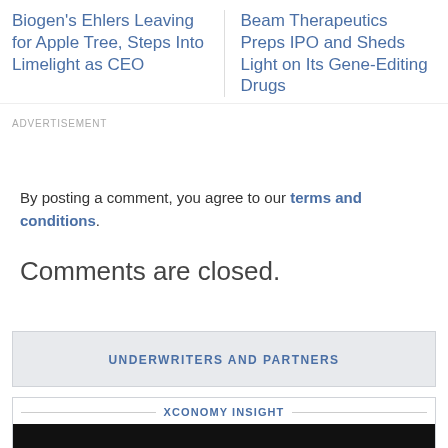Biogen’s Ehlers Leaving for Apple Tree, Steps Into Limelight as CEO
Beam Therapeutics Preps IPO and Sheds Light on Its Gene-Editing Drugs
ADVERTISEMENT
By posting a comment, you agree to our terms and conditions.
Comments are closed.
UNDERWRITERS AND PARTNERS
XCONOMY INSIGHT
[Figure (screenshot): Video thumbnail showing two people in a split-screen video call format with a play button overlay]